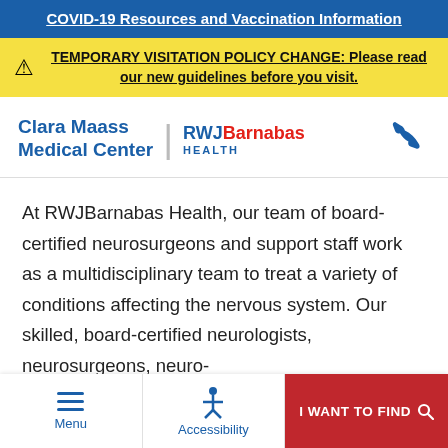COVID-19 Resources and Vaccination Information
TEMPORARY VISITATION POLICY CHANGE: Please read our new guidelines before you visit.
[Figure (logo): Clara Maass Medical Center | RWJBarnabas Health logo with phone icon]
At RWJBarnabas Health, our team of board-certified neurosurgeons and support staff work as a multidisciplinary team to treat a variety of conditions affecting the nervous system. Our skilled, board-certified neurologists, neurosurgeons, neuro-
Menu | Accessibility | I WANT TO FIND